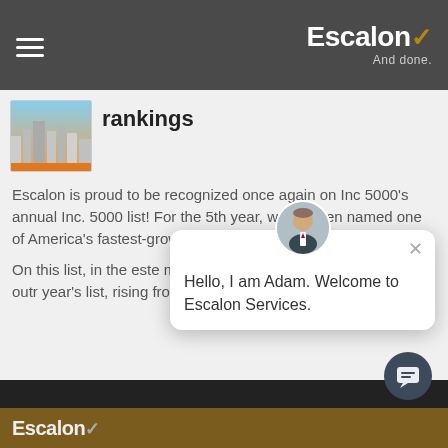Escalon ✓ And done.
rankings
[Figure (photo): Aerial cityscape photo with orange/blue sky, used as article thumbnail]
Escalon is proud to be recognized once again on Inc 5000's annual Inc. 5000 list! For the 5th year, we've been named one of America's fastest-growing companies.
On this list, in the este most successful priva America, we have outr year's list, rising from
Hello, I am Adam. Welcome to Escalon Services.
[Figure (photo): Chat avatar: headshot of a man in a suit (Adam)]
Escalon ✓